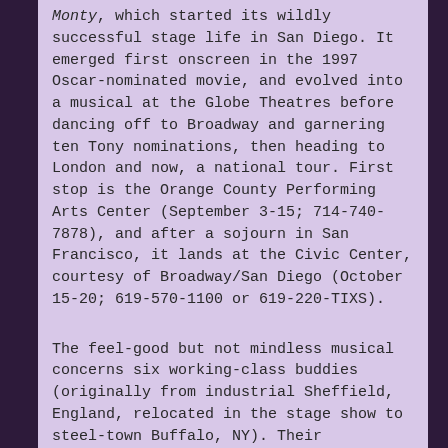Monty, which started its wildly successful stage life in San Diego. It emerged first onscreen in the 1997 Oscar-nominated movie, and evolved into a musical at the Globe Theatres before dancing off to Broadway and garnering ten Tony nominations, then heading to London and now, a national tour. First stop is the Orange County Performing Arts Center (September 3-15; 714-740-7878), and after a sojourn in San Francisco, it lands at the Civic Center, courtesy of Broadway/San Diego (October 15-20; 619-570-1100 or 619-220-TIXS).
The feel-good but not mindless musical concerns six working-class buddies (originally from industrial Sheffield, England, relocated in the stage show to steel-town Buffalo, NY). Their unemployment is eating away at their manhood. In a desperate attempt to get their lives back together, they drop their fears, their nerves and their pants. When they see a local